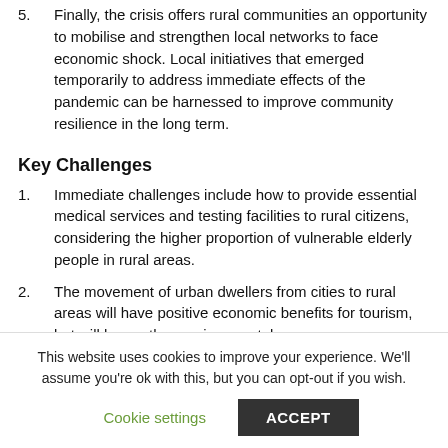5. Finally, the crisis offers rural communities an opportunity to mobilise and strengthen local networks to face economic shock. Local initiatives that emerged temporarily to address immediate effects of the pandemic can be harnessed to improve community resilience in the long term.
Key Challenges
1. Immediate challenges include how to provide essential medical services and testing facilities to rural citizens, considering the higher proportion of vulnerable elderly people in rural areas.
2. The movement of urban dwellers from cities to rural areas will have positive economic benefits for tourism, but will have other environmental...
This website uses cookies to improve your experience. We'll assume you're ok with this, but you can opt-out if you wish.